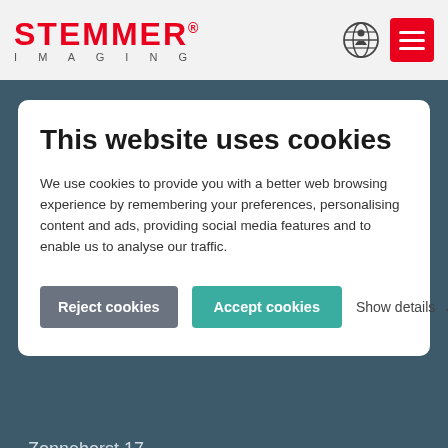[Figure (logo): STEMMER IMAGING logo with red STEMMER text and registered trademark symbol, gray IMAGING text below]
This website uses cookies
We use cookies to provide you with a better web browsing experience by remembering your preferences, personalising content and ads, providing social media features and to enable us to analyse our traffic.
Reject cookies | Accept cookies | Show details
Zonnehorst 17
7207 BT Zutphen
Netherlands
Phone: +31 575 - 79 88 88
Contact